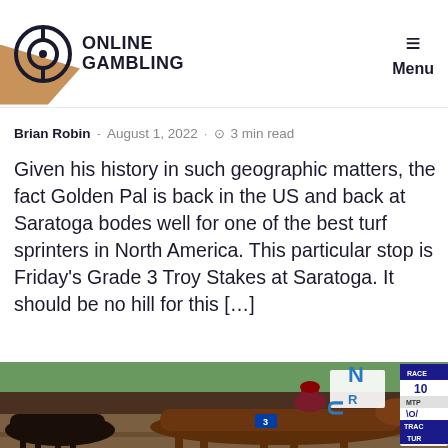ONLINE GAMBLING — Menu
Brian Robin - August 1, 2022 — 3 min read
Given his history in such geographic matters, the fact Golden Pal is back in the US and back at Saratoga bodes well for one of the best turf sprinters in North America. This particular stop is Friday's Grade 3 Troy Stakes at Saratoga. It should be no hill for this […]
[Figure (photo): Horse race photo showing a jockey in maroon/gold silks riding a dark bay horse mid-race, with a race results board visible on the right showing RACE 10, MTP, TRAC, TUR and a RUN banner in the background.]